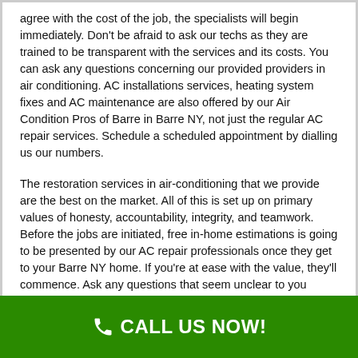agree with the cost of the job, the specialists will begin immediately. Don't be afraid to ask our techs as they are trained to be transparent with the services and its costs. You can ask any questions concerning our provided providers in air conditioning. AC installations services, heating system fixes and AC maintenance are also offered by our Air Condition Pros of Barre in Barre NY, not just the regular AC repair services. Schedule a scheduled appointment by dialling us our numbers.
The restoration services in air-conditioning that we provide are the best on the market. All of this is set up on primary values of honesty, accountability, integrity, and teamwork. Before the jobs are initiated, free in-home estimations is going to be presented by our AC repair professionals once they get to your Barre NY home. If you're at ease with the value, they'll commence. Ask any questions that seem unclear to you concerning our air conditioning repair services. We are transparent in our services.
CALL US NOW!